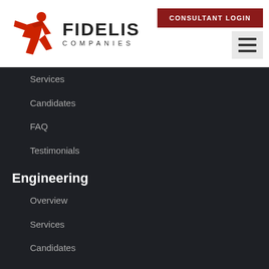[Figure (logo): Fidelis Companies logo with red figure icon and company name]
Services
Candidates
FAQ
Testimonials
Engineering
Overview
Services
Candidates
FAQ
Testimonials
Search Jobs
Resources
Overview